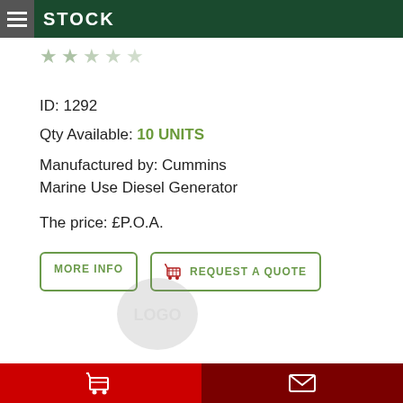STOCK
ID: 1292
Qty Available: 10 UNITS
Manufactured by: Cummins Marine Use Diesel Generator
The price: £P.O.A.
[Figure (other): Faded star rating icons (approximately 5 stars, greyed out)]
[Figure (other): Small faded watermark/logo image at bottom center of content area]
Bottom navigation bar with shopping cart icon on red left and envelope/mail icon on dark red right